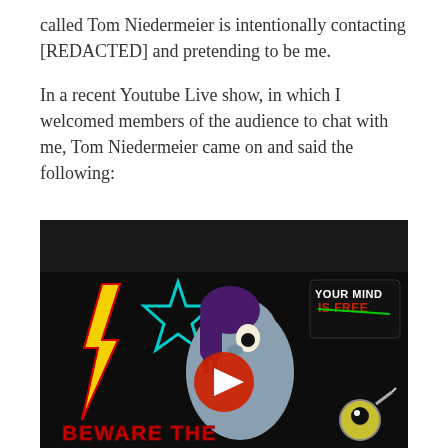called Tom Niedermeier is intentionally contacting [REDACTED] and pretending to be me.
In a recent Youtube Live show, in which I welcomed members of the audience to chat with me, Tom Niedermeier came on and said the following:
[Figure (screenshot): YouTube video thumbnail showing animated character with purple hair, lightning bolt graphic, cyan star/pentagram, 'YOUR MIND IS FREE' badge top right, red play button in center, and 'BEWARE THE' text in red at bottom. Dark background.]